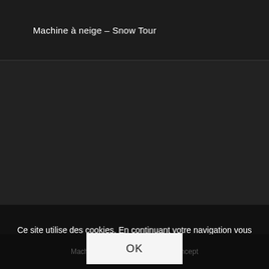Machine à neige – Snow Tour
[Figure (screenshot): Dark background content area, mostly empty dark region]
Ce site utilise des cookies. En continuant votre navigation vous acceptez leur utilisation.
OK
Machine à neige – Sno...rd / Concept